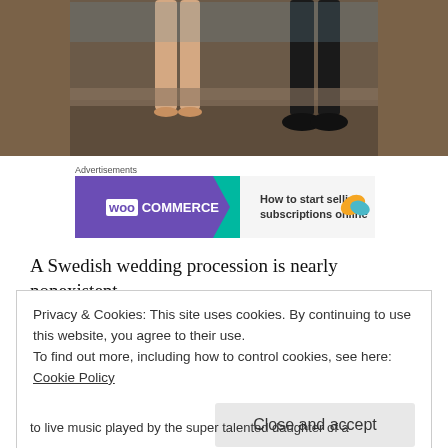[Figure (photo): Cropped photo showing the lower body/legs of two people sitting on a bench near a pool or wooden floor area. One person wearing heels, another wearing dark pants and shoes.]
Advertisements
[Figure (infographic): WooCommerce advertisement banner: purple left panel with WooCommerce logo and green arrow, right panel reading 'How to start selling subscriptions online' with orange and blue leaf decorations.]
A Swedish wedding procession is nearly nonexistent.
Privacy & Cookies: This site uses cookies. By continuing to use this website, you agree to their use.
To find out more, including how to control cookies, see here: Cookie Policy
Close and accept
to live music played by the super talented daughter of a